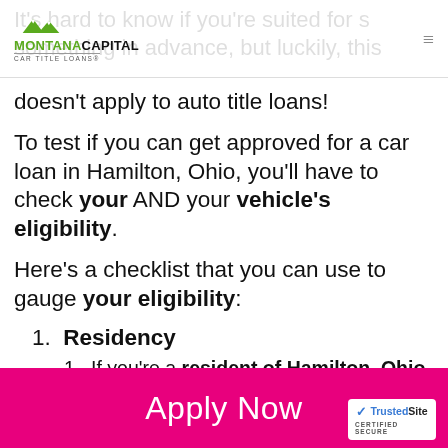Montana Capital Car Title Loans
It's hard to know if you're suited for something in advance, but luckily, this doesn't apply to auto title loans!
To test if you can get approved for a car loan in Hamilton, Ohio, you'll have to check your AND your vehicle's eligibility.
Here's a checklist that you can use to gauge your eligibility:
1. Residency
1. If you're a resident of Hamilton, Ohio, you can apply for an auto title loan! Only residents of a particular area can avail of car title loans in a particular
Apply Now